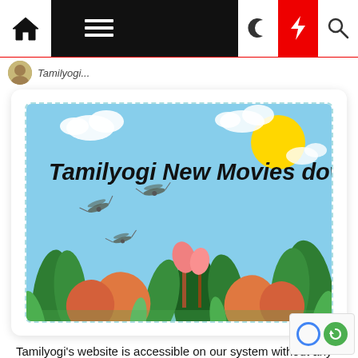Navigation bar with home, menu, dark mode, flash, and search icons
[Figure (illustration): Tamilyogi New Movies download banner image: light blue sky background with clouds, yellow sun, tropical plants and flowers in the foreground, dragonflies flying, bold black italic text reading 'Tamilyogi New Movies download', dashed border around the image]
Tamilyogi's website is accessible on our system without any use of 3rd party software. Tamilyogi is a one-stop destination for downloading the latest Hindi, Tamil, Malayalam, Telugu, Punjabi movies in HD quality. There are a lot of people who prefer...